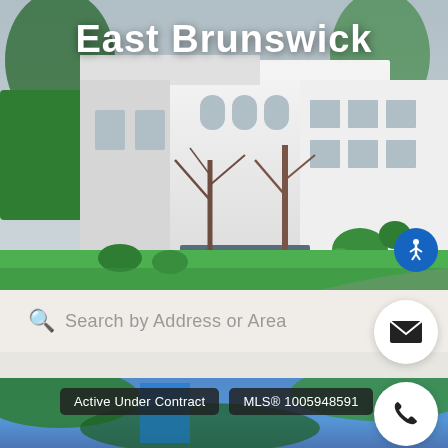[Figure (photo): Hero image of a large white house with bare trees, manicured green lawn, and curved driveway]
East Brunswick
Search by Address or Area
[Figure (photo): Aerial view of river with green forested banks, partial listing card at bottom]
Active Under Contract
MLS® 1005948591